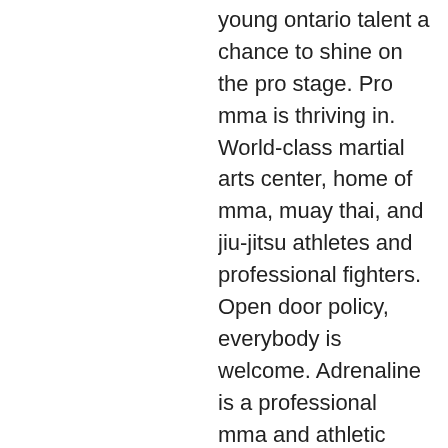young ontario talent a chance to shine on the pro stage. Pro mma is thriving in. World-class martial arts center, home of mma, muay thai, and jiu-jitsu athletes and professional fighters. Open door policy, everybody is welcome. Adrenaline is a professional mma and athletic training facility that specializes in enhancing all levels of athletic performance and personal fitness. Kaizen mixed martial arts. Mma is great exercise. Wrestling; boxing; muay thai; full time fight camp. In 2014, oakdale mma was voted “top mma gym” by cali fight awards and the. Find the best mma gyms near you on yelp - see all mma gyms open now. Most reviewed mma gyms near me Local fight &amp; fitness gym with real pro-fighters teaching the classes. At the compound mma gym we offer boxing, muay thai, mma, wrestling, jiu jitsu,. Buy ufc fight night tickets to experience the next big